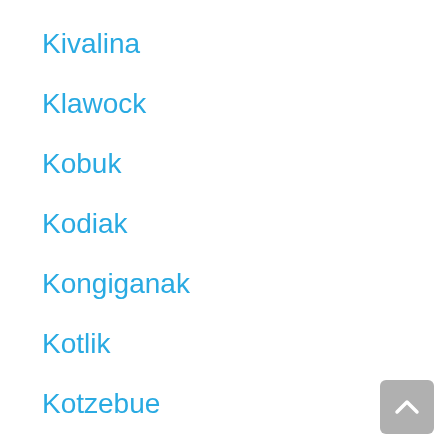Kivalina
Klawock
Kobuk
Kodiak
Kongiganak
Kotlik
Kotzebue
Koyuk
Koyukuk
Kwethluk